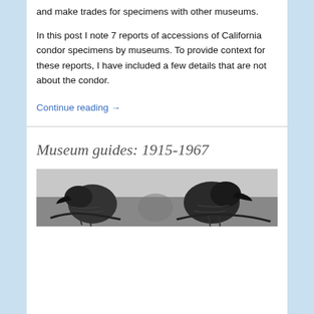and make trades for specimens with other museums.
In this post I note 7 reports of accessions of California condor specimens by museums. To provide context for these reports, I have included a few details that are not about the condor.
Continue reading →
Museum guides: 1915-1967
[Figure (photo): Black and white photo of California condor specimens, showing heads/beaks of condors from above]